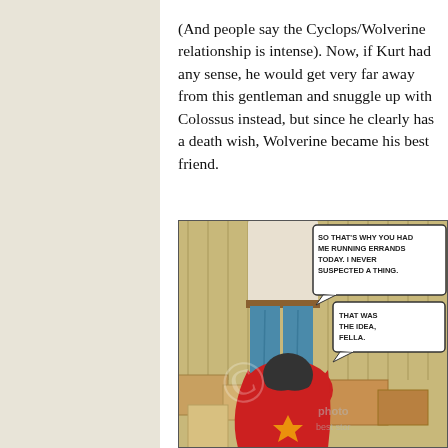(And people say the Cyclops/Wolverine relationship is intense). Now, if Kurt had any sense, he would get very far away from this gentleman and snuggle up with Colossus instead, but since he clearly has a death wish, Wolverine became his best friend.
[Figure (illustration): Comic book panel showing a figure in blue jeans and white shirt standing amid boxes, with a crouching figure in red below. Speech bubbles read: 'SO THAT'S WHY YOU HAD ME RUNNING ERRANDS TODAY. I NEVER SUSPECTED A THING.' and 'THAT WAS THE IDEA, FELLA.' Watermark visible over image.]